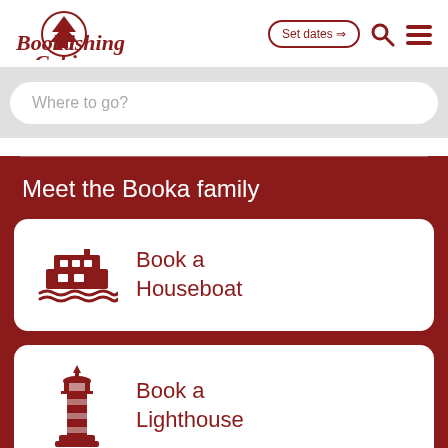[Figure (logo): BookaFishingCabin logo with pine tree icon and italic serif text]
Set dates →
Where to go?
Meet the Booka family
[Figure (illustration): Houseboat icon in dark red]
Book a Houseboat
[Figure (illustration): Lighthouse icon in dark red]
Book a Lighthouse
Share this ∧